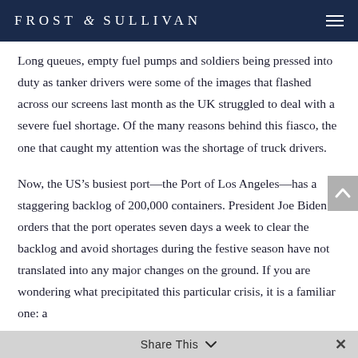FROST & SULLIVAN
Long queues, empty fuel pumps and soldiers being pressed into duty as tanker drivers were some of the images that flashed across our screens last month as the UK struggled to deal with a severe fuel shortage. Of the many reasons behind this fiasco, the one that caught my attention was the shortage of truck drivers.
Now, the US’s busiest port—the Port of Los Angeles—has a staggering backlog of 200,000 containers. President Joe Biden’s orders that the port operates seven days a week to clear the backlog and avoid shortages during the festive season have not translated into any major changes on the ground. If you are wondering what precipitated this particular crisis, it is a familiar one: a
Share This